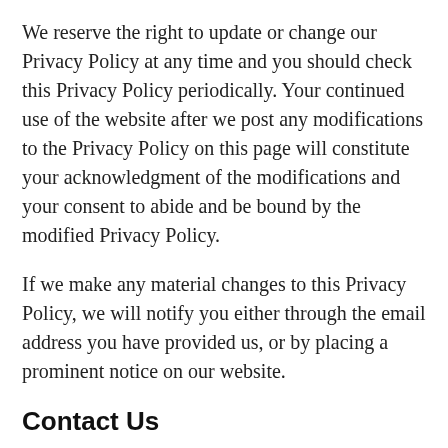We reserve the right to update or change our Privacy Policy at any time and you should check this Privacy Policy periodically. Your continued use of the website after we post any modifications to the Privacy Policy on this page will constitute your acknowledgment of the modifications and your consent to abide and be bound by the modified Privacy Policy.
If we make any material changes to this Privacy Policy, we will notify you either through the email address you have provided us, or by placing a prominent notice on our website.
Contact Us
If you have any further questions about this Privacy Policy, please contact us at:Graber Supply, LLC